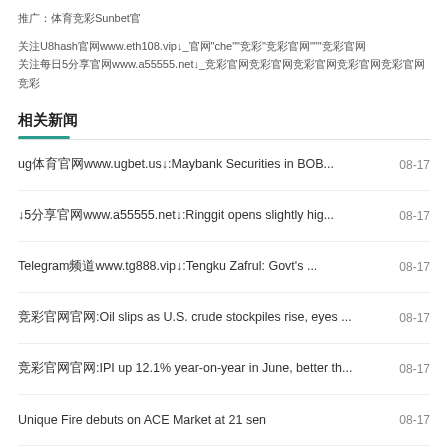推广：体育竞彩Sunbet官
关注U8hash官网www.eth108.vip↓_官网"che""竞彩"竞彩官网"""竞彩官网
关注每日5分享官网www.a55555.net↓_竞彩官网竞彩官网竞彩官网竞彩官网竞彩官网竞彩
相关新闻
ug体育官网www.ugbet.us↓:Maybank Securities in BOB...
↓5分享官网www.a55555.net↓:Ringgit opens slightly hig...
Telegram频道www.tg888.vip↓:Tengku Zafrul: Govt's ...
竞彩官网官网:Oil slips as U.S. crude stockpiles rise, eyes ...
竞彩官网官网:IPI up 12.1% year-on-year in June, better th...
Unique Fire debuts on ACE Market at 21 sen
竞彩官网www.aLLbet8.vip↓:Malaysia Airlines to acquire...
竞彩5分官网www.a55555.net↓:SNS Network foresees str...
Strong 2Q earnings likely for metal-based players